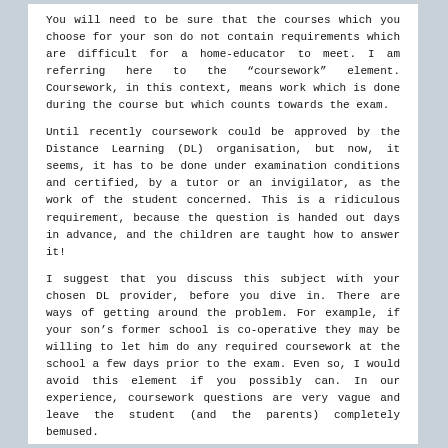You will need to be sure that the courses which you choose for your son do not contain requirements which are difficult for a home-educator to meet. I am referring here to the “coursework” element. Coursework, in this context, means work which is done during the course but which counts towards the exam.
Until recently coursework could be approved by the Distance Learning (DL) organisation, but now, it seems, it has to be done under examination conditions and certified, by a tutor or an invigilator, as the work of the student concerned. This is a ridiculous requirement, because the question is handed out days in advance, and the children are taught how to answer it!
I suggest that you discuss this subject with your chosen DL provider, before you dive in. There are ways of getting around the problem. For example, if your son’s former school is co-operative they may be willing to let him do any required coursework at the school a few days prior to the exam. Even so, I would avoid this element if you possibly can. In our experience, coursework questions are very vague and leave the student (and the parents) completely bemused.
For more information on this subject you should make a list of the exams which your son wants to take, find out which exam board each DL provider uses for each of those subjects, and then visit the